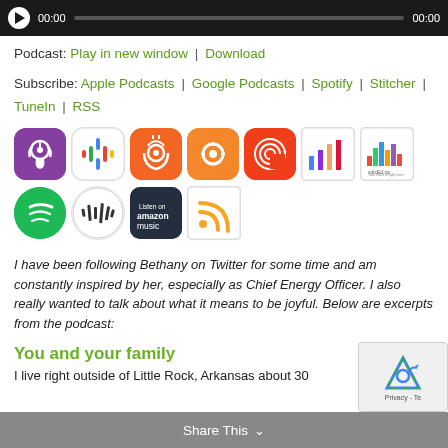[Figure (screenshot): Audio player bar with play button, progress bar, and 00:00 timestamps on dark background]
Podcast: Play in new window | Download
Subscribe: Apple Podcasts | Google Podcasts | Spotify | Stitcher | TuneIn | RSS
[Figure (illustration): Grid of podcast platform icons: Apple Podcasts, Google Podcasts, Overcast, Castbox, Pocket Casts, Spreaker, voicEd.ca (top row); Spotify, Stitcher, Amazon Music, RSS (bottom row)]
I have been following Bethany on Twitter for some time and am constantly inspired by her, especially as Chief Energy Officer. I also really wanted to talk about what it means to be joyful. Below are excerpts from the podcast:
You and your family
I live right outside of Little Rock, Arkansas about 30
Share This